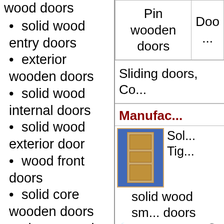wood doors
solid wood entry doors
exterior wooden doors
solid wood internal doors
solid wood exterior door
wood front doors
solid core wooden doors
cheap wooden doors
| Pin wooden doors | Doo... |
| --- | --- |
| Sliding doors, Co... |
Manufac...
[Figure (photo): Photo of a solid wood door with blue background and wood-colored door panel with multiple panels]
Sol... Tig... solid wood sm... doors sm... photo to The... increase